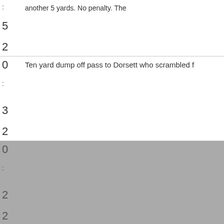another 5 yards. No penalty. The
5
2
0  Ten yard dump off pass to Dorsett who scrambled f
:
3
2
0
:
2
2
TD Da